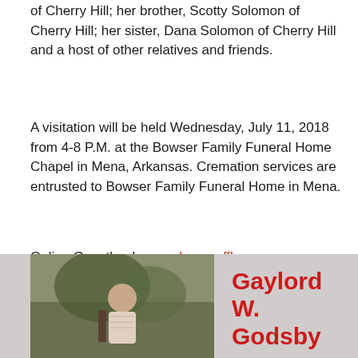of Cherry Hill; her brother, Scotty Solomon of Cherry Hill; her sister, Dana Solomon of Cherry Hill and a host of other relatives and friends.
A visitation will be held Wednesday, July 11, 2018 from 4-8 P.M. at the Bowser Family Funeral Home Chapel in Mena, Arkansas. Cremation services are entrusted to Bowser Family Funeral Home in Mena.
Online Guestbook: www.bowserffh.com
7-10-18 9:36 p.m. kawx.org
[Figure (photo): Photo of a man outdoors near a tree]
Gaylord W. Godsby